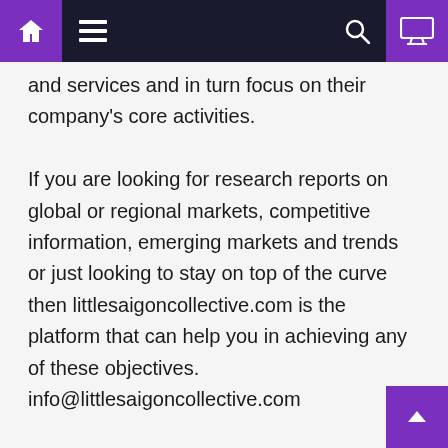[navigation bar with home, menu, search, and monitor icons]
and services and in turn focus on their company's core activities.

If you are looking for research reports on global or regional markets, competitive information, emerging markets and trends or just looking to stay on top of the curve then littlesaigoncollective.com is the platform that can help you in achieving any of these objectives.
info@littlesaigoncollective.com